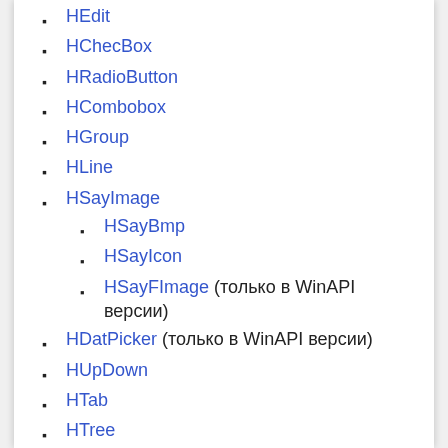HEdit
HChecBox
HRadioButton
HCombobox
HGroup
HLine
HSayImage
HSayBmp
HSayIcon
HSayFImage (только в WinAPI версии)
HDatPicker (только в WinAPI версии)
HUpDown
HTab
HTree
HMonthCalendar
HListbox (только в WinAPI версии)
HTrackBar (только в WinAPI версии)
HAnimation (только в WinAPI версии)
HGrid (только в WinAPI версии)
HToolBar